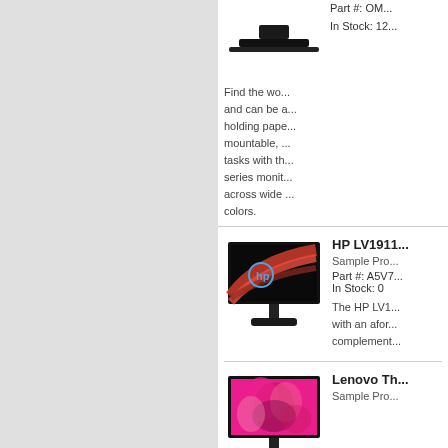[Figure (photo): Monitor stand/base visible at top, cropped]
Part #: OM...
In Stock: 12...
Find the wo... and can be a... holding pape... mountable, ... tasks with th... series monit... across wide ... colors.
[Figure (photo): HP LV1911 monitor with red swirl design on black screen]
HP LV1911...
Sample Pro...
Part #: A5V7...
In Stock: 0
The HP LV1... with an afor... complement...
[Figure (photo): Lenovo monitor with pink floral image on screen]
Lenovo Th...
Sample Pro...